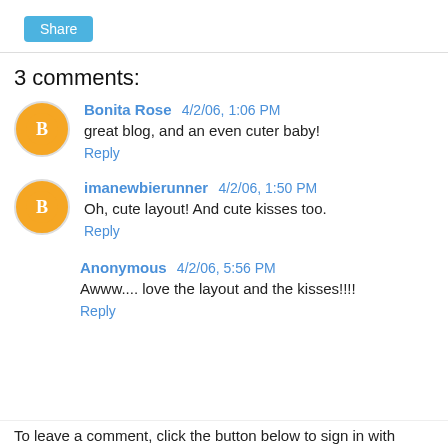Share
3 comments:
Bonita Rose  4/2/06, 1:06 PM
great blog, and an even cuter baby!
Reply
imanewbierunner  4/2/06, 1:50 PM
Oh, cute layout! And cute kisses too.
Reply
Anonymous  4/2/06, 5:56 PM
Awww.... love the layout and the kisses!!!!
Reply
To leave a comment, click the button below to sign in with